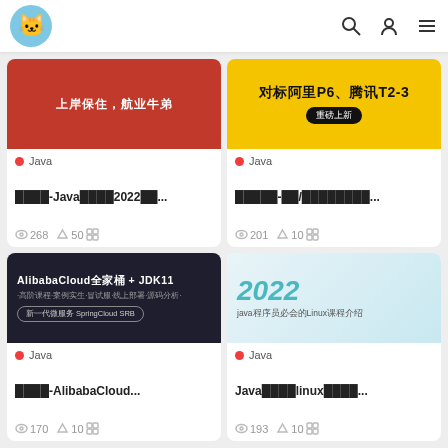App header with logo and navigation icons
[Figure (screenshot): Red background thumbnail with Chinese text '上岸保住，航业牛弟']
Java
████-Java████2022██...
268  50
[Figure (screenshot): Yellow background thumbnail with Chinese text '对标阿里P6、腾讯T2-3' and black badge '重磅上新']
Java
█████-██/████████...
201  10
[Figure (screenshot): Dark background thumbnail with text 'AlibabaCloud全家桶 + JDK11' and badge '新一代微服务 SpringCloud SRB']
Java
████-AlibabaCloud...
170  10
[Figure (screenshot): Light blue/white background with '2022' in teal italic and 'java程序员必会的Linux课程介绍']
Java
Java████linux████...
193  10